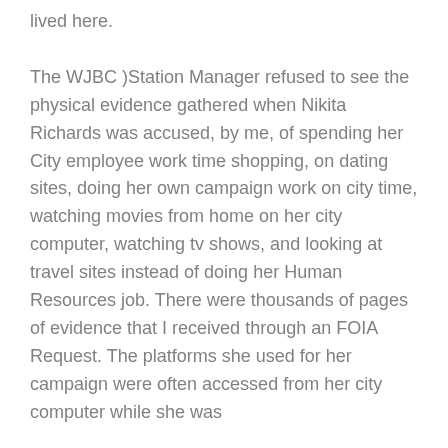lived here.
The WJBC )Station Manager refused to see the physical evidence gathered when Nikita Richards was accused, by me, of spending her City employee work time shopping, on dating sites, doing her own campaign work on city time, watching movies from home on her city computer, watching tv shows, and looking at travel sites instead of doing her Human Resources job. There were thousands of pages of evidence that I received through an FOIA Request. The platforms she used for her campaign were often accessed from her city computer while she was